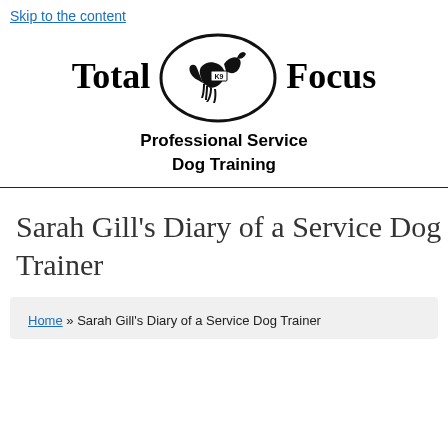Skip to the content
[Figure (logo): Total K9 Focus logo — oval with a German Shepherd dog silhouette and 'K9' text, flanked by the words 'Total' and 'Focus' in large serif bold, with 'Professional Service Dog Training' below]
Sarah Gill's Diary of a Service Dog Trainer
Home » Sarah Gill's Diary of a Service Dog Trainer